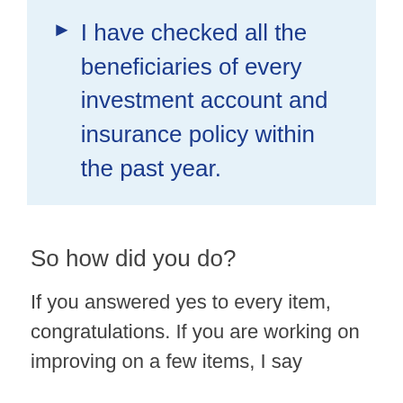I have checked all the beneficiaries of every investment account and insurance policy within the past year.
So how did you do?
If you answered yes to every item, congratulations. If you are working on improving on a few items, I say